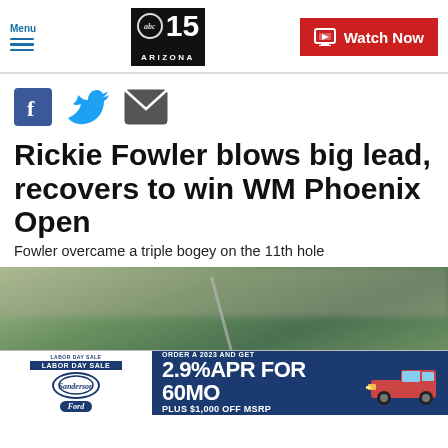Menu | ABC 15 Arizona | Watch Now
[Figure (other): Social share icons: Facebook, Twitter, Email]
Rickie Fowler blows big lead, recovers to win WM Phoenix Open
Fowler overcame a triple bogey on the 11th hole
[Figure (photo): Golf photo showing a golfer swinging, blurred background]
[Figure (other): Advertisement: Sanderson Ford Labor Day Sale - ORDER A 2023 AND GET 2.9% APR FOR 60MO PLUS $1,000 OFF MSRP with image of a Ford truck]